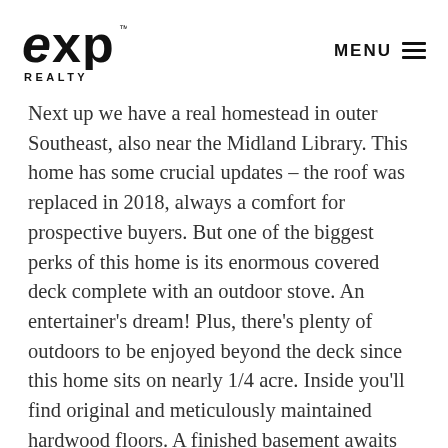eXp REALTY | MENU
Next up we have a real homestead in outer Southeast, also near the Midland Library. This home has some crucial updates – the roof was replaced in 2018, always a comfort for prospective buyers. But one of the biggest perks of this home is its enormous covered deck complete with an outdoor stove. An entertainer's dream! Plus, there's plenty of outdoors to be enjoyed beyond the deck since this home sits on nearly 1/4 acre. Inside you'll find original and meticulously maintained hardwood floors. A finished basement awaits your indoor fun too.